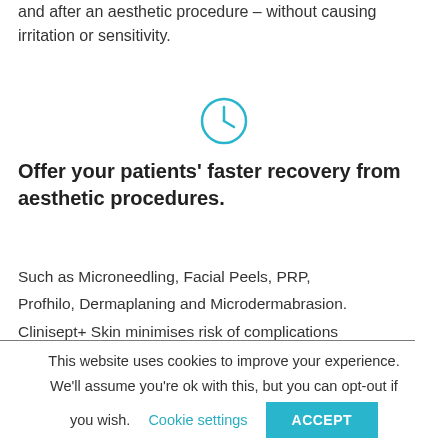and after an aesthetic procedure – without causing irritation or sensitivity.
[Figure (illustration): Blue outline clock icon]
Offer your patients' faster recovery from aesthetic procedures.
Such as Microneedling, Facial Peels, PRP, Profhilo, Dermaplaning and Microdermabrasion. Clinisept+ Skin minimises risk of complications
This website uses cookies to ensure you get the best experience on our website.
This website uses cookies to improve your experience. We'll assume you're ok with this, but you can opt-out if you wish.
Cookie settings
ACCEPT